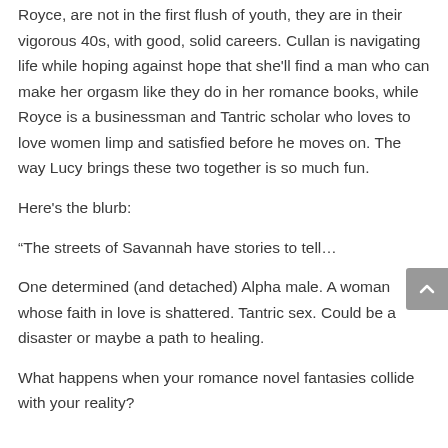Royce, are not in the first flush of youth, they are in their vigorous 40s, with good, solid careers. Cullan is navigating life while hoping against hope that she'll find a man who can make her orgasm like they do in her romance books, while Royce is a businessman and Tantric scholar who loves to love women limp and satisfied before he moves on. The way Lucy brings these two together is so much fun.
Here's the blurb:
“The streets of Savannah have stories to tell…
One determined (and detached) Alpha male. A woman whose faith in love is shattered. Tantric sex. Could be a disaster or maybe a path to healing.
What happens when your romance novel fantasies collide with your reality?